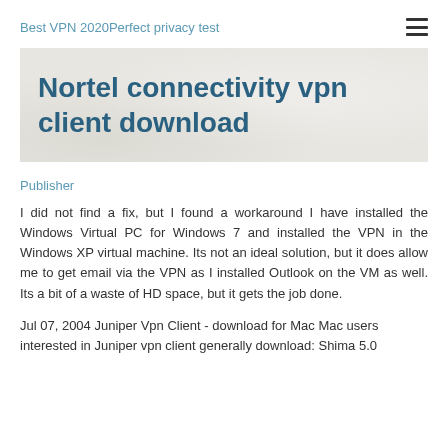Best VPN 2020Perfect privacy test
Nortel connectivity vpn client download
Publisher
I did not find a fix, but I found a workaround I have installed the Windows Virtual PC for Windows 7 and installed the VPN in the Windows XP virtual machine. Its not an ideal solution, but it does allow me to get email via the VPN as I installed Outlook on the VM as well. Its a bit of a waste of HD space, but it gets the job done.
Jul 07, 2004 Juniper Vpn Client - download for Mac Mac users interested in Juniper vpn client generally download: Shima 5.0